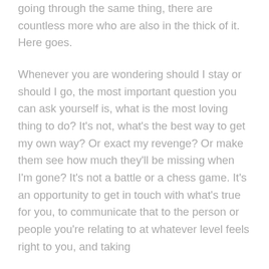going through the same thing, there are countless more who are also in the thick of it. Here goes.
Whenever you are wondering should I stay or should I go, the most important question you can ask yourself is, what is the most loving thing to do? It's not, what's the best way to get my own way? Or exact my revenge? Or make them see how much they'll be missing when I'm gone? It's not a battle or a chess game. It's an opportunity to get in touch with what's true for you, to communicate that to the person or people you're relating to at whatever level feels right to you, and taking